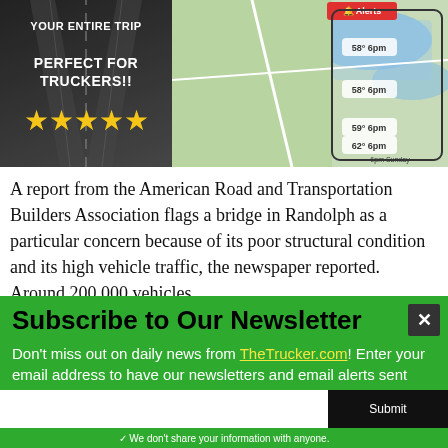[Figure (screenshot): Advertisement image showing 'YOUR ENTIRE TRIP / PERFECT FOR TRUCKERS!!' with 5 stars on a dark highway background on the left, and a weather/navigation map app screenshot on the right]
A report from the American Road and Transportation Builders Association flags a bridge in Randolph as a particular concern because of its poor structural condition and its high vehicle traffic, the newspaper reported. Around 200,000 vehicles
Subscribe to Our Newsletter
Don't miss out on daily news from TheTrucker.com! Enter your email address to have our newsletters and email alerts sent straight to your mailbox — all for free.
✓ We don't share your information with anyone.